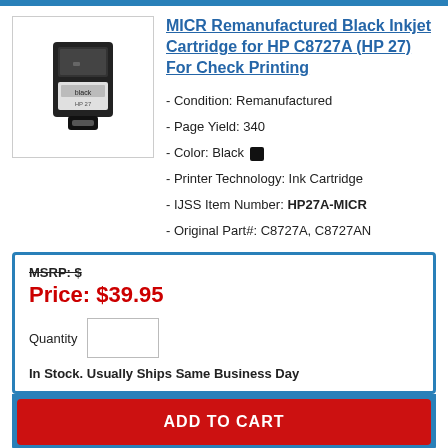MICR Remanufactured Black Inkjet Cartridge for HP C8727A (HP 27) For Check Printing
- Condition: Remanufactured
- Page Yield: 340
- Color: Black
- Printer Technology: Ink Cartridge
- IJSS Item Number: HP27A-MICR
- Original Part#: C8727A, C8727AN
MSRP: $
Price: $39.95
Quantity
In Stock. Usually Ships Same Business Day
ADD TO CART
Filter by Condition
All
Filter by Color
All